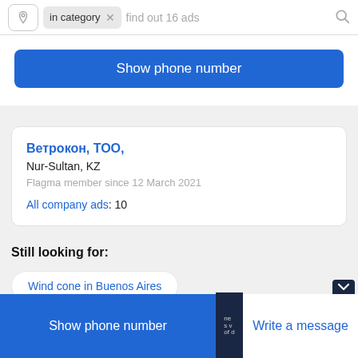[Figure (screenshot): Search bar with location pin icon, 'in category' tag with X, placeholder text 'find out 16 ads', and search icon]
Show phone number
Ветрокон, ТОО,
Nur-Sultan, KZ
Flagma member since 12 March 2021
All company ads: 10
Still looking for:
Wind cone in Buenos Aires
Show phone number
Write a message